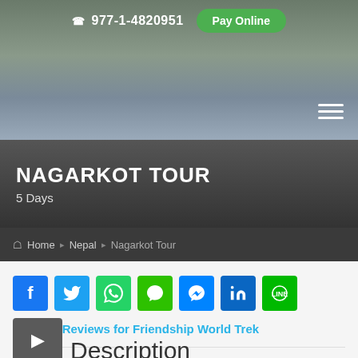977-1-4820951  Pay Online
NAGARKOT TOUR
5 Days
Home › Nepal › Nagarkot Tour
[Figure (screenshot): Social media share icons: Facebook, Twitter, WhatsApp, WeChat, Messenger, LinkedIn, Line]
Read 88 Reviews for Friendship World Trek
Description